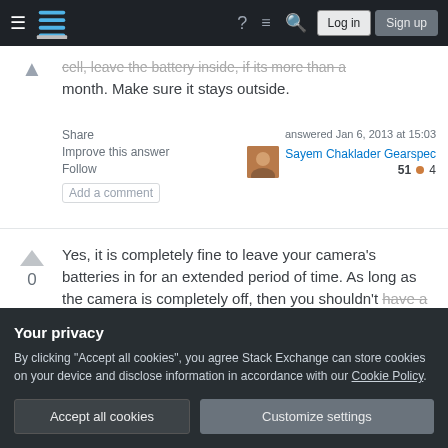Stack Exchange navigation bar with Log in and Sign up buttons
month. Make sure it stays outside.
Share  Improve this answer  Follow  Add a comment
answered Jan 6, 2013 at 15:03  Sayem Chaklader Gearspec  51 ● 4
Yes, it is completely fine to leave your camera's batteries in for an extended period of time. As long as the camera is completely off, then you shouldn't have a problem. Hope this helps!
Your privacy
By clicking "Accept all cookies", you agree Stack Exchange can store cookies on your device and disclose information in accordance with our Cookie Policy.